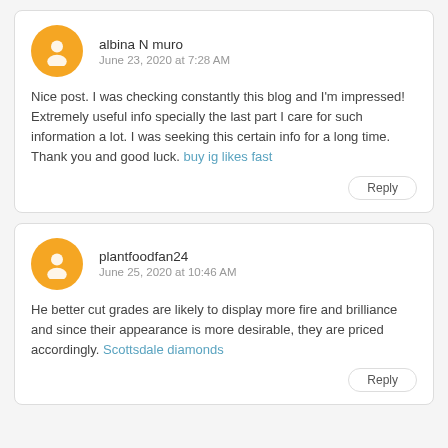albina N muro
June 23, 2020 at 7:28 AM
Nice post. I was checking constantly this blog and I'm impressed! Extremely useful info specially the last part I care for such information a lot. I was seeking this certain info for a long time. Thank you and good luck. buy ig likes fast
plantfoodfan24
June 25, 2020 at 10:46 AM
He better cut grades are likely to display more fire and brilliance and since their appearance is more desirable, they are priced accordingly. Scottsdale diamonds